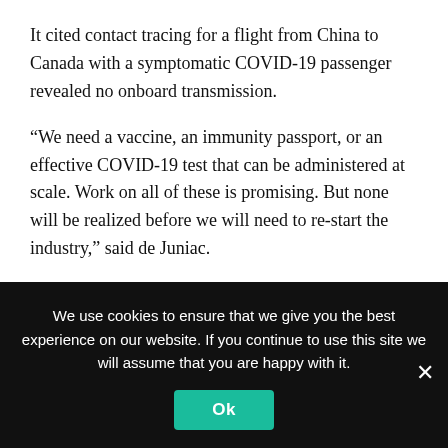It cited contact tracing for a flight from China to Canada with a symptomatic COVID-19 passenger revealed no onboard transmission.
“We need a vaccine, an immunity passport, or an effective COVID-19 test that can be administered at scale. Work on all of these is promising. But none will be realized before we will need to re-start the industry,” said de Juniac.
In March alone, IATA had said global passenger traffic plunged nearly 53% compared to the same period a year earlier, the biggest plunge in recent history.
We use cookies to ensure that we give you the best experience on our website. If you continue to use this site we will assume that you are happy with it.